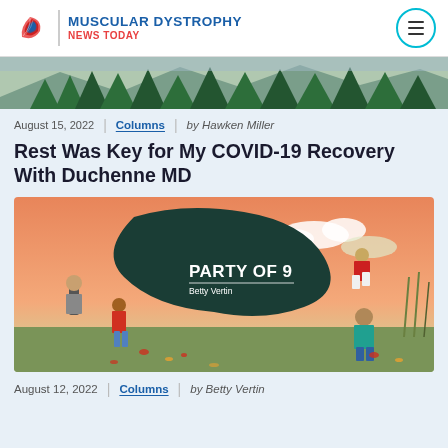MUSCULAR DYSTROPHY NEWS TODAY
[Figure (illustration): Banner image showing a forest landscape with green pine trees against a mountain background]
August 15, 2022 | Columns | by Hawken Miller
Rest Was Key for My COVID-19 Recovery With Duchenne MD
[Figure (illustration): Illustrated image titled 'PARTY OF 9' by Betty Vertin, showing animated people in an outdoor setting with a dark green blob shape, sunset sky in orange and pink tones, with figures walking and playing]
August 12, 2022 | Columns | by Betty Vertin